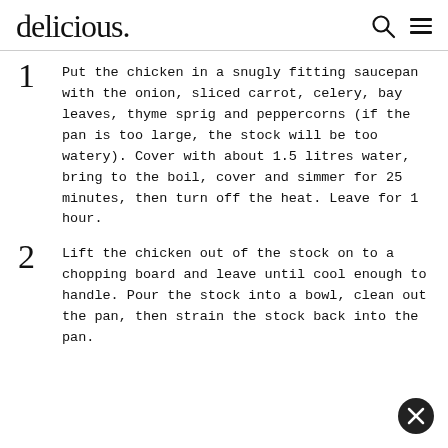delicious.
Put the chicken in a snugly fitting saucepan with the onion, sliced carrot, celery, bay leaves, thyme sprig and peppercorns (if the pan is too large, the stock will be too watery). Cover with about 1.5 litres water, bring to the boil, cover and simmer for 25 minutes, then turn off the heat. Leave for 1 hour.
Lift the chicken out of the stock on to a chopping board and leave until cool enough to handle. Pour the stock into a bowl, clean out the pan, then strain the stock back into the pan.